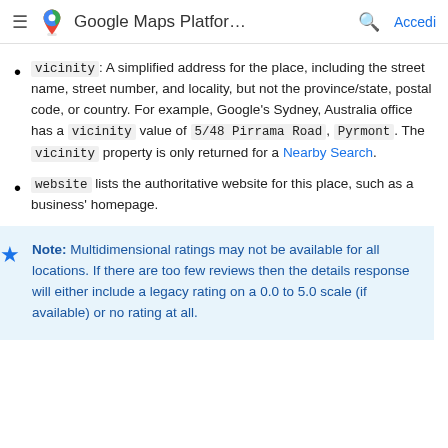Google Maps Platfor...  Accedi
vicinity: A simplified address for the place, including the street name, street number, and locality, but not the province/state, postal code, or country. For example, Google's Sydney, Australia office has a vicinity value of 5/48 Pirrama Road, Pyrmont. The vicinity property is only returned for a Nearby Search.
website lists the authoritative website for this place, such as a business' homepage.
Note: Multidimensional ratings may not be available for all locations. If there are too few reviews then the details response will either include a legacy rating on a 0.0 to 5.0 scale (if available) or no rating at all.